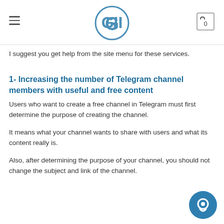GII logo, hamburger menu, cart icon
I suggest you get help from the site menu for these services.
1- Increasing the number of Telegram channel members with useful and free content
Users who want to create a free channel in Telegram must first determine the purpose of creating the channel.
It means what your channel wants to share with users and what its content really is.
Also, after determining the purpose of your channel, you should not change the subject and link of the channel.